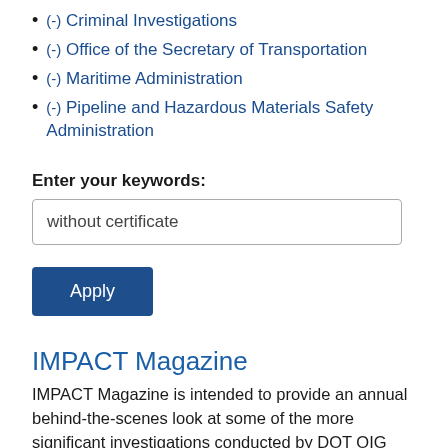(-) Criminal Investigations
(-) Office of the Secretary of Transportation
(-) Maritime Administration
(-) Pipeline and Hazardous Materials Safety Administration
Enter your keywords:
without certificate
Apply
IMPACT Magazine
IMPACT Magazine is intended to provide an annual behind-the-scenes look at some of the more significant investigations conducted by DOT OIG special agents. This publication highlights the unique nature of our mission and the work of our t